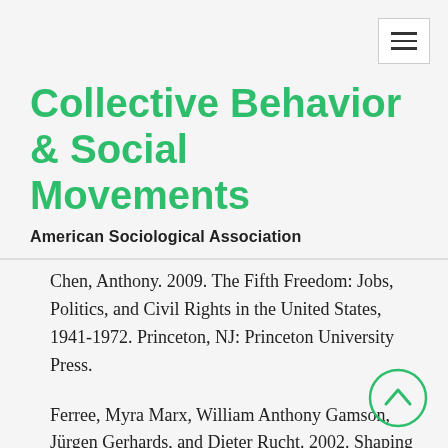[Figure (other): Hamburger menu button (three horizontal lines) in top-right corner]
Collective Behavior & Social Movements
American Sociological Association
Chen, Anthony. 2009.  The Fifth Freedom: Jobs, Politics, and Civil Rights in the United States, 1941-1972.  Princeton, NJ: Princeton University Press.
Ferree, Myra Marx, William Anthony Gamson, Jürgen Gerhards, and Dieter Rucht. 2002.  Shaping Abortion Discourse: Democracy and the Public Sphere in Germany and the United States. Cambridge, UK: Cambridge University
[Figure (other): Scroll-to-top circular button with upward chevron arrow, positioned at bottom right]